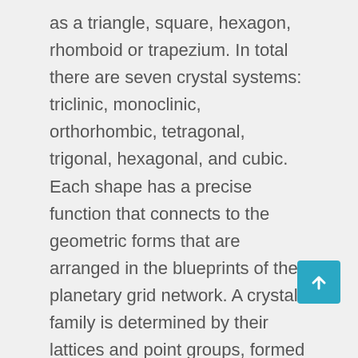as a triangle, square, hexagon, rhomboid or trapezium. In total there are seven crystal systems: triclinic, monoclinic, orthorhombic, tetragonal, trigonal, hexagonal, and cubic. Each shape has a precise function that connects to the geometric forms that are arranged in the blueprints of the planetary grid network. A crystal family is determined by their lattices and point groups, formed by combining crystal systems which have space groups assigned to a common lattice system. The shape of the lattice determines not only which crystal system the stone belongs to, but all of its physical properties and appearance. In some crystal healing practices the axial symmetry of a crystal is believed to directly influence its metaphysical properties. For example, crystals in the cubic system
[Figure (other): A teal/cyan back-to-top arrow button in the bottom right area of the page]